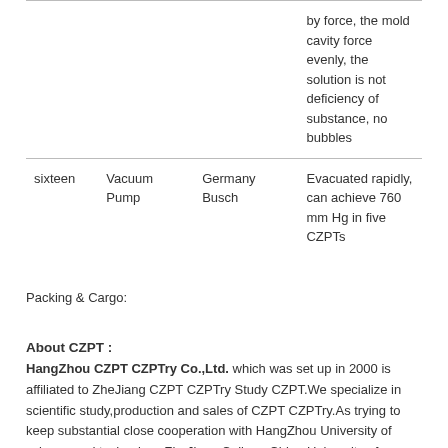| No. | Name | Brand | Description |
| --- | --- | --- | --- |
|  |  |  | by force, the mold cavity force evenly, the solution is not deficiency of substance, no bubbles |
| sixteen | Vacuum Pump | Germany Busch | Evacuated rapidly, can achieve 760 mm Hg in five CZPTs |
Packing & Cargo:
About CZPT :
HangZhou CZPT CZPTry Co.,Ltd. which was set up in 2000 is affiliated to ZheJiang CZPT CZPTry Study CZPT.We specialize in scientific study,production and sales of CZPT CZPTry.As trying to keep substantial close cooperation with HangZhou University of science and technology,ZheJiang College,China University of petroleum,Chinese Academy of